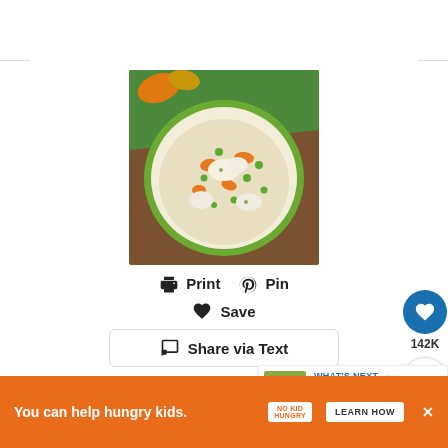[Figure (photo): A bowl of creamy chicken and vegetable soup with carrots, peas, and dumplings, viewed from above on a wooden table with a green cloth and autumn leaves]
Print  Pin
Save
Share via Text
4.57 from 124 votes
[Figure (photo): Circular heart icon button (blue) for saving/favoriting, with 142K count below, and a share icon button]
[Figure (photo): WHAT'S NEXT banner with Instant Pot Broccoli... thumbnail]
WHAT'S NEXT →
Instant Pot Broccoli...
You can help hungry kids.
LEARN HOW